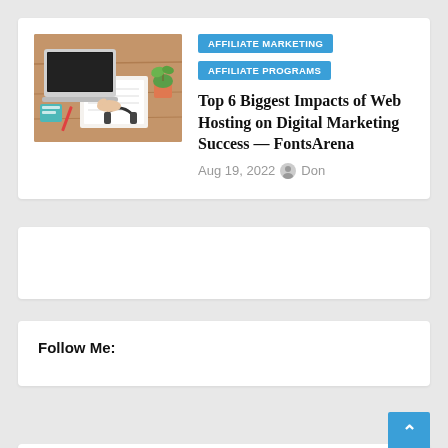[Figure (photo): Person working at a desk with a laptop, notebook, pens, headphones, and a small plant on a wooden table surface]
AFFILIATE MARKETING
AFFILIATE PROGRAMS
Top 6 Biggest Impacts of Web Hosting on Digital Marketing Success — FontsArena
Aug 19, 2022  Don
Follow Me: